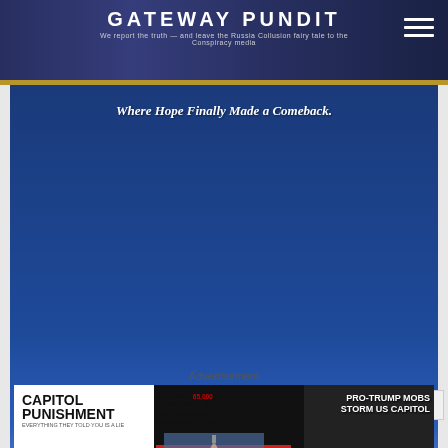GATEWAY PUNDIT — We report the truth — and leave the Russia Collusion fairy tale to the Conspiracy media
[Figure (photo): Large blue advertisement image with text 'Where Hope Finally Made a Comeback.' and document information 'Constitution & Civil Justice Subcommittee: State Of Intellectual Freedom In America' with a 'View On Scribd' button]
Constitution & Civil Justice Subcommittee: State Of Intellectual Freedom In America
View On Scribd
Advertisement
[Figure (photo): Capitol Punishment advertisement: 'JOIN OVER 65,000 OTHER PEOPLE WHO LEARNED THE TRUTH ABOUT THE JANUARY 6TH CAPITOL' with WATCH NOW button, Capitol building image, and 'PRO-TRUMP MOBS STORM US CAPITOL' news headline overlay. Bottom red bar with text 'JANUARY 6 WAS YEARS IN THE MAKING AND THE THREAT TO THE SURVIVAL OF AMERICA AS WE KNOW IT HAS NEVER BEEN GREATER.']